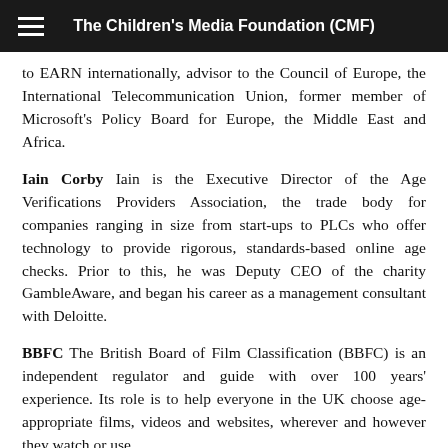The Children's Media Foundation (CMF)
to EARN internationally, advisor to the Council of Europe, the International Telecommunication Union, former member of Microsoft's Policy Board for Europe, the Middle East and Africa.
Iain Corby Iain is the Executive Director of the Age Verifications Providers Association, the trade body for companies ranging in size from start-ups to PLCs who offer technology to provide rigorous, standards-based online age checks. Prior to this, he was Deputy CEO of the charity GambleAware, and began his career as a management consultant with Deloitte.
BBFC The British Board of Film Classification (BBFC) is an independent regulator and guide with over 100 years' experience. Its role is to help everyone in the UK choose age-appropriate films, videos and websites, wherever and however they watch or use